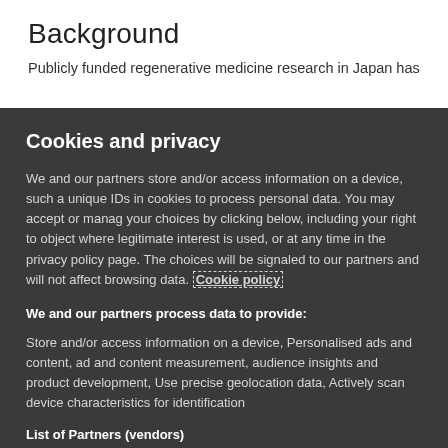Background
Publicly funded regenerative medicine research in Japan has
Cookies and privacy
We and our partners store and/or access information on a device, such a unique IDs in cookies to process personal data. You may accept or manage your choices by clicking below, including your right to object where legitimate interest is used, or at any time in the privacy policy page. These choices will be signaled to our partners and will not affect browsing data. Cookie policy
We and our partners process data to provide:
Store and/or access information on a device, Personalised ads and content, ad and content measurement, audience insights and product development, Use precise geolocation data, Actively scan device characteristics for identification
List of Partners (vendors)
I Accept